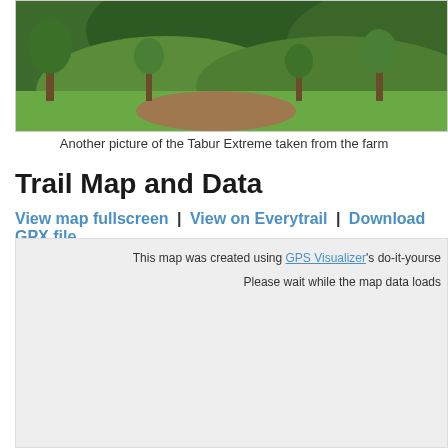[Figure (photo): Landscape photograph of the Tabur Extreme trail area taken from a farm, showing green hills with trees and forest in the background]
Another picture of the Tabur Extreme taken from the farm
Trail Map and Data
View map fullscreen | View on Everytrail | Download GPX file
[Figure (map): Embedded map area with text: This map was created using GPS Visualizer's do-it-yourself... Please wait while the map data loads]